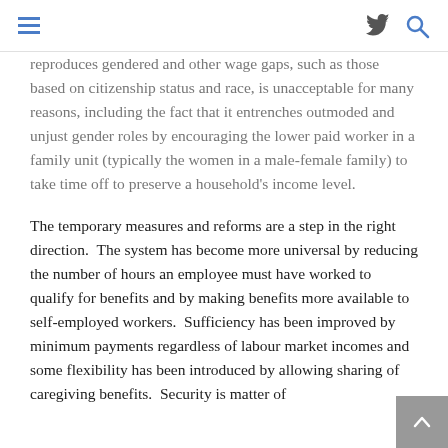≡  🐦  🔍
reproduces gendered and other wage gaps, such as those based on citizenship status and race, is unacceptable for many reasons, including the fact that it entrenches outmoded and unjust gender roles by encouraging the lower paid worker in a family unit (typically the women in a male-female family) to take time off to preserve a household's income level.
The temporary measures and reforms are a step in the right direction.  The system has become more universal by reducing the number of hours an employee must have worked to qualify for benefits and by making benefits more available to self-employed workers.  Sufficiency has been improved by minimum payments regardless of labour market incomes and some flexibility has been introduced by allowing sharing of caregiving benefits.  Security is matter of